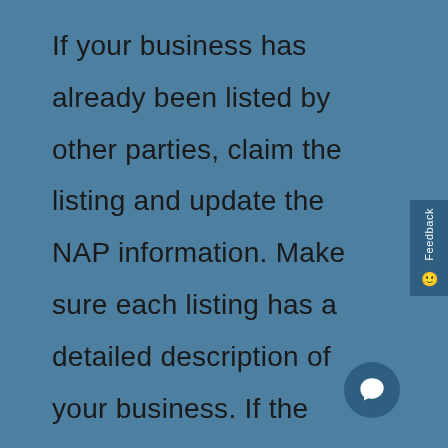If your business has already been listed by other parties, claim the listing and update the NAP information. Make sure each listing has a detailed description of your business. If the listing has a multimedia option, give searchers a glimpse of your business with high-quality pictures or a video. This is the simplest way to get your business to rank in local searches at